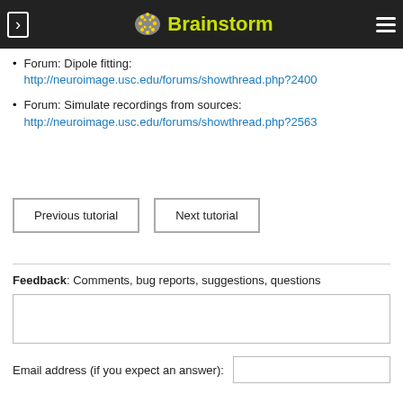Brainstorm
Forum: Dipole fitting: http://neuroimage.usc.edu/forums/showthread.php?2400
Forum: Simulate recordings from sources: http://neuroimage.usc.edu/forums/showthread.php?2563
Previous tutorial | Next tutorial
Feedback: Comments, bug reports, suggestions, questions
Email address (if you expect an answer):